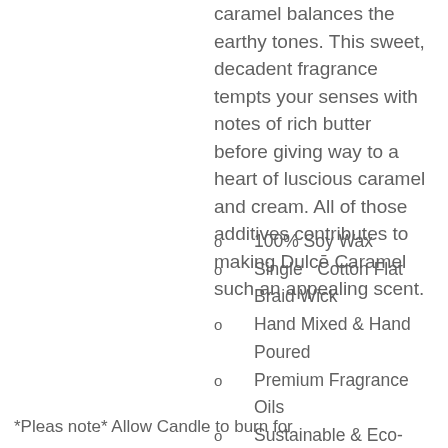caramel balances the earthy tones. This sweet, decadent fragrance tempts your senses with notes of rich butter before giving way to a heart of luscious caramel and cream. All of those additives contributes to making Dulcē Caramel such an appealing scent.
100% Soy Wax
Single  Cotton Flat Braid Wick
Hand Mixed & Hand Poured
Premium Fragrance Oils
Sustainable & Eco-Friendly
Contemporary/Modern Jar
Phthalate-free
9 oz. | 255 g Net Weight
*Pleas note* Allow Candle to burn for